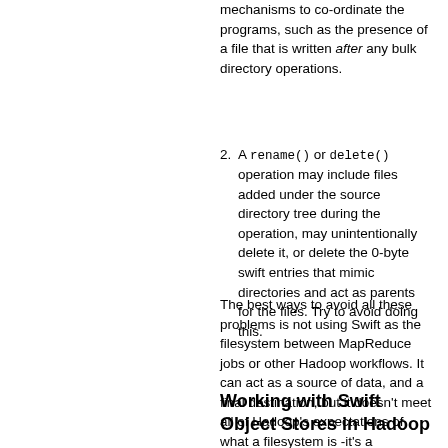mechanisms to co-ordinate the programs, such as the presence of a file that is written after any bulk directory operations.
A rename() or delete() operation may include files added under the source directory tree during the operation, may unintentionally delete it, or delete the 0-byte swift entries that mimic directories and act as parents for the files. Try to avoid doing this.
The best ways to avoid all these problems is not using Swift as the filesystem between MapReduce jobs or other Hadoop workflows. It can act as a source of data, and a final destination, but it doesn't meet all of Hadoop's expectations of what a filesystem is -it's a blobstore.
Working with Swift Object Stores in Hadoop